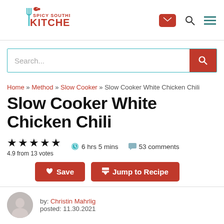[Figure (logo): Spicy Southern Kitchen logo with fork and bird icon]
[Figure (screenshot): Search bar with teal border and red search button]
Home » Method » Slow Cooker » Slow Cooker White Chicken Chili
Slow Cooker White Chicken Chili
4.9 from 13 votes  6 hrs 5 mins  53 comments
Save  Jump to Recipe
by: Christin Mahrlig  posted: 11.30.2021